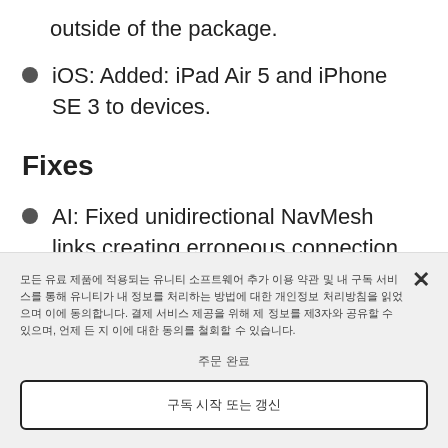outside of the package.
iOS: Added: iPad Air 5 and iPhone SE 3 to devices.
Fixes
AI: Fixed unidirectional NavMesh links creating erroneous connection between polygons. (1328727)
모든 유료 제품에 적용되는 유니티 소프트웨어 추가 이용 약관 및 내 구독 서비스를 통해 유니티가 내 정보를 처리하는 방법에 대한 개인정보 처리방침을 읽었으며 이에 동의합니다. 결제 서비스 제공을 위해 제 정보를 제3자와 공유할 수 있으며, 언제 든 지 이에 대한 동의를 철회할 수 있습니다.
주문 완료
구독 시작 또는 갱신